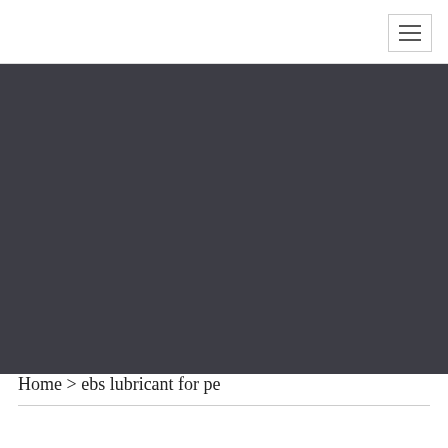[Figure (other): Dark gray hero banner background image area]
Home > ebs lubricant for pe